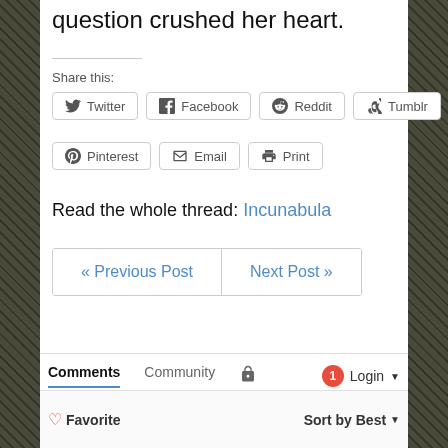question crushed her heart.
Share this:
Twitter | Facebook | Reddit | Tumblr | Pinterest | Email | Print
Read the whole thread: Incunabula
« Previous Post | Next Post »
Comments | Community | Login | 1 notification | Favorite | Sort by Best